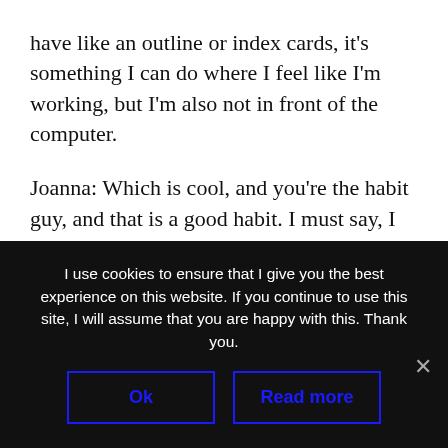have like an outline or index cards, it's something I can do where I feel like I'm working, but I'm also not in front of the computer.
Joanna: Which is cool, and you're the habit guy, and that is a good habit. I must say, I do try the digital fasting pretty regularly, you know. At least a day a fortnight now. Which sounds terrible, but really just disconnecting completely.
I use cookies to ensure that I give you the best experience on this website. If you continue to use this site, I will assume that you are happy with this. Thank you.